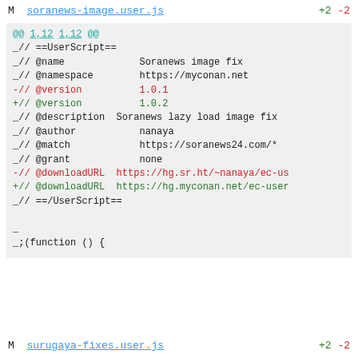M  soranews-image.user.js   +2 -2
@@ 1,12 1,12 @@
 _// ==UserScript==
 _// @name             Soranews image fix
 _// @namespace        https://myconan.net
 -// @version          1.0.1
 +// @version          1.0.2
 _// @description  Soranews lazy load image fix
 _// @author           nanaya
 _// @match            https://soranews24.com/*
 _// @grant            none
 -// @downloadURL  https://hg.sr.ht/~nanaya/ec-us
 +// @downloadURL  https://hg.myconan.net/ec-user
 _// ==/UserScript==
 _
 _;(function () {
M  surugaya-fixes.user.js   +2 -2